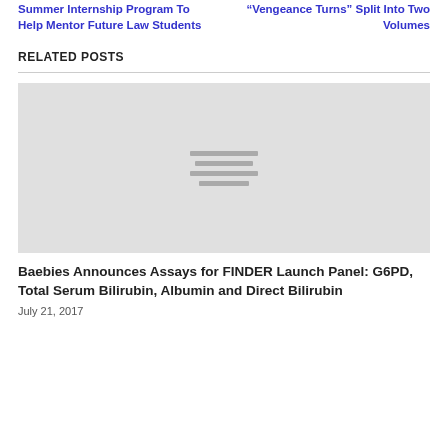Summer Internship Program To Help Mentor Future Law Students
“Vengeance Turns” Split Into Two Volumes
RELATED POSTS
[Figure (illustration): Gray placeholder image with three horizontal lines in the center]
Baebies Announces Assays for FINDER Launch Panel: G6PD, Total Serum Bilirubin, Albumin and Direct Bilirubin
July 21, 2017